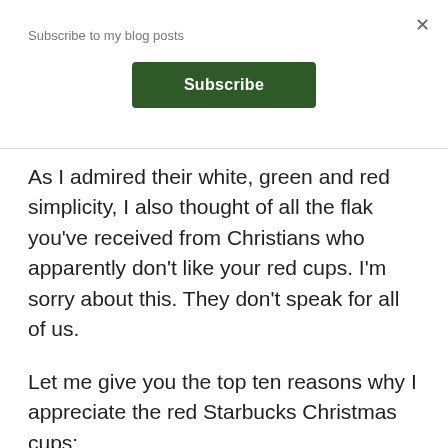Subscribe to my blog posts
Subscribe
As I admired their white, green and red simplicity, I also thought of all the flak you've received from Christians who apparently don't like your red cups. I'm sorry about this. They don't speak for all of us.
Let me give you the top ten reasons why I appreciate the red Starbucks Christmas cups: